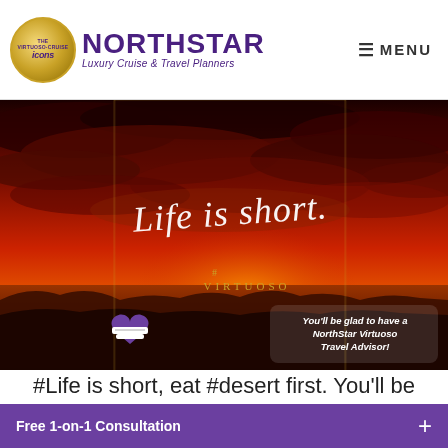[Figure (logo): NorthStar Luxury Cruise & Travel Planners logo with gold Virtuoso icons badge and purple text]
[Figure (photo): Dramatic red and orange sunset sky with dark clouds over a desert landscape. Text overlay reads 'Life is short.' in white script, and 'You'll be glad to have a NorthStar Virtuoso Travel Advisor!' at the bottom with a heart-shaped NorthStar logo and Virtuoso branding.]
#Life is short, eat #desert first. You'll be glad …
Free 1-on-1 Consultation